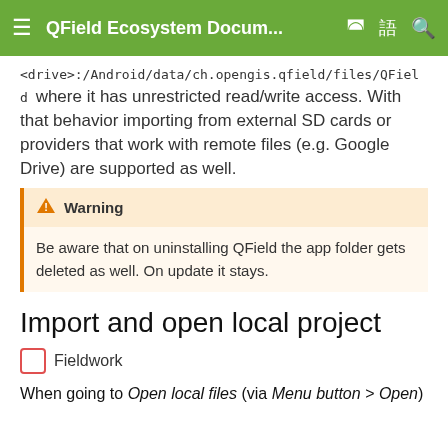QField Ecosystem Docum...
<drive>:/Android/data/ch.opengis.qfield/files/QField where it has unrestricted read/write access. With that behavior importing from external SD cards or providers that work with remote files (e.g. Google Drive) are supported as well.
Warning
Be aware that on uninstalling QField the app folder gets deleted as well. On update it stays.
Import and open local project
Fieldwork
When going to Open local files (via Menu button > Open)